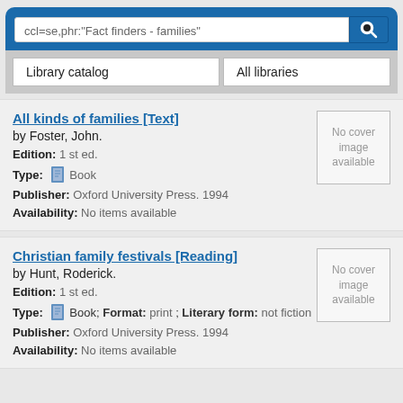ccl=se,phr:"Fact finders - families"
Library catalog
All libraries
All kinds of families [Text]
by Foster, John.
Edition: 1 st ed.
Type: Book
Publisher: Oxford University Press. 1994
Availability: No items available
[Figure (other): No cover image available placeholder box]
Christian family festivals [Reading]
by Hunt, Roderick.
Edition: 1 st ed.
Type: Book; Format: print ; Literary form: not fiction
Publisher: Oxford University Press. 1994
Availability: No items available
[Figure (other): No cover image available placeholder box]